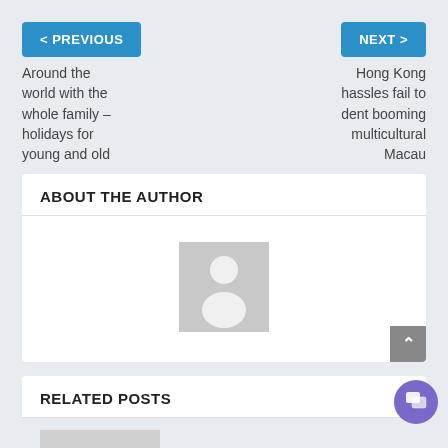< PREVIOUS
Around the world with the whole family – holidays for young and old
NEXT >
Hong Kong hassles fail to dent booming multicultural Macau
ABOUT THE AUTHOR
[Figure (illustration): Generic user avatar placeholder — grey square with white silhouette of a person]
RELATED POSTS
[Figure (photo): Partially visible image placeholder at the bottom of the page]